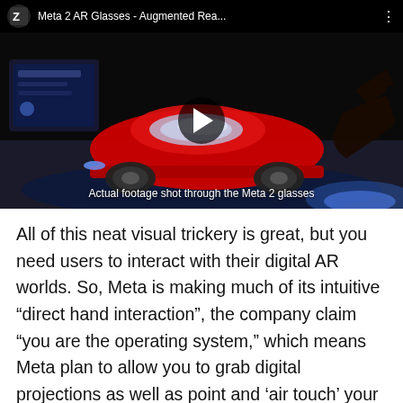[Figure (screenshot): YouTube video thumbnail showing Meta 2 AR Glasses augmented reality demo — a red car hologram being interacted with by a hand, with a play button overlay and caption 'Actual footage shot through the Meta 2 glasses'. Video title bar reads 'Meta 2 AR Glasses - Augmented Rea...']
Actual footage shot through the Meta 2 glasses
All of this neat visual trickery is great, but you need users to interact with their digital AR worlds. So, Meta is making much of its intuitive "direct hand interaction", the company claim "you are the operating system," which means Meta plan to allow you to grab digital projections as well as point and 'air touch' your way around interfaces – all captured using an onboard (but undefined) 'sensor array'. The video...